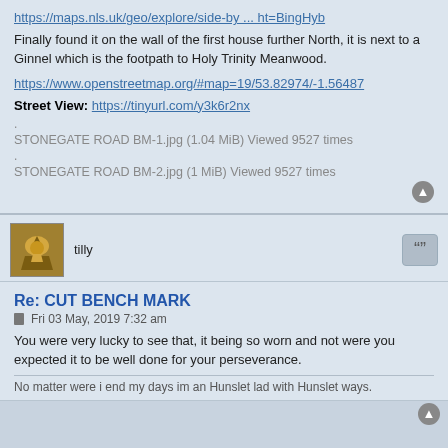https://maps.nls.uk/geo/explore/side-by ... ht=BingHyb
Finally found it on the wall of the first house further North, it is next to a Ginnel which is the footpath to Holy Trinity Meanwood.
https://www.openstreetmap.org/#map=19/53.82974/-1.56487
Street View: https://tinyurl.com/y3k6r2nx
. STONEGATE ROAD BM-1.jpg (1.04 MiB) Viewed 9527 times
. STONEGATE ROAD BM-2.jpg (1 MiB) Viewed 9527 times
tilly
Re: CUT BENCH MARK
Fri 03 May, 2019 7:32 am
You were very lucky to see that, it being so worn and not were you expected it to be well done for your perseverance.
No matter were i end my days im an Hunslet lad with Hunslet ways.